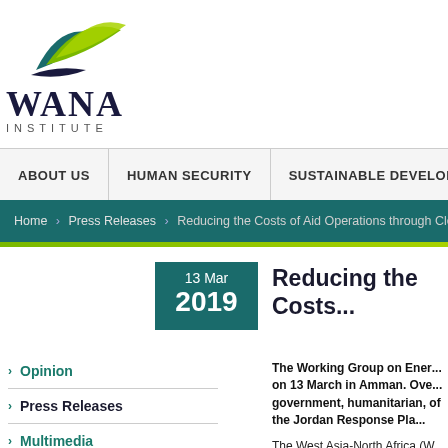[Figure (logo): WANA Institute logo with green and teal leaf shapes above the text WANA INSTITUTE]
ABOUT US | HUMAN SECURITY | SUSTAINABLE DEVELOPMENT
Home > Press Releases > Reducing the Costs of Aid Operations through Clean...
13 Mar 2019
Reducing the Cost...
Opinion
Press Releases
Multimedia
Photo Galleries
The Working Group on Energy met on 13 March in Amman. Over government, humanitarian, of the Jordan Response Pla...
The West Asia-North Africa (W... The Royal Institute for Interna...